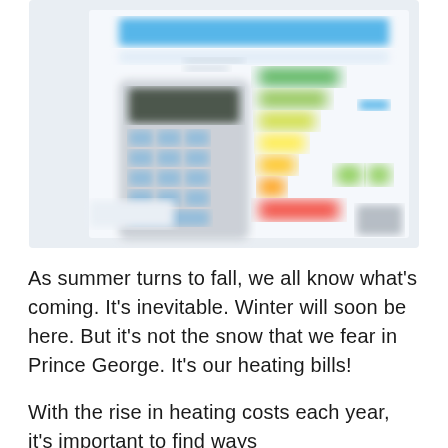[Figure (photo): Blurred photo of a calculator with colorful energy efficiency rating bars (green to red staircase chart) on a document, suggesting energy costs or efficiency ratings.]
As summer turns to fall, we all know what's coming. It's inevitable. Winter will soon be here. But it's not the snow that we fear in Prince George. It's our heating bills!
With the rise in heating costs each year, it's important to find ways